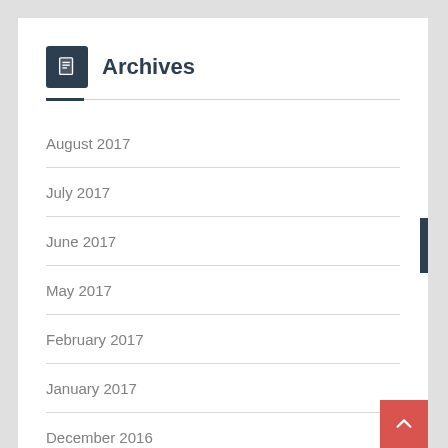Archives
August 2017
July 2017
June 2017
May 2017
February 2017
January 2017
December 2016
November 2016